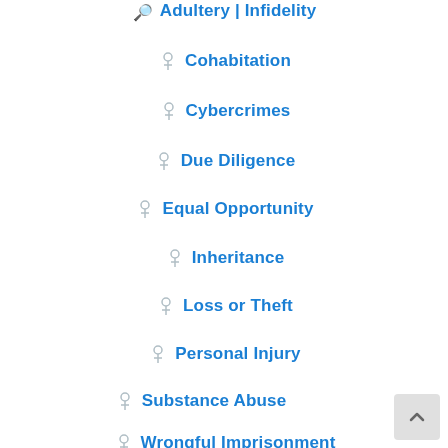Adultery | Infidelity
Cohabitation
Cybercrimes
Due Diligence
Equal Opportunity
Inheritance
Loss or Theft
Personal Injury
Substance Abuse
Wrongful Imprisonment